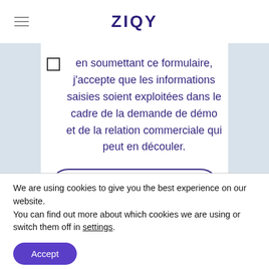ZIQY
en soumettant ce formulaire, j'accepte que les informations saisies soient exploitées dans le cadre de la demande de démo et de la relation commerciale qui peut en découler.
S'ABONNER
We are using cookies to give you the best experience on our website.
You can find out more about which cookies we are using or switch them off in settings.
Accept